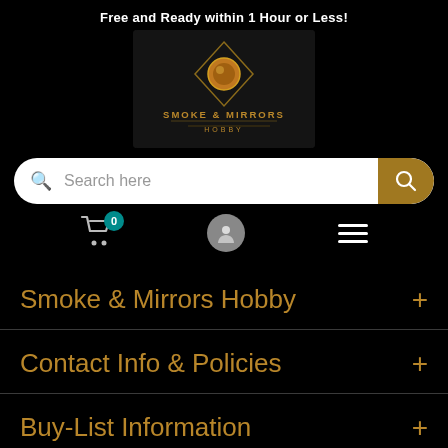Free and Ready within 1 Hour or Less!
[Figure (logo): Smoke & Mirrors Hobby logo with golden emblem on dark wood background]
Search here
[Figure (infographic): Navigation icon bar with shopping cart (badge 0), user profile icon, and hamburger menu]
Smoke & Mirrors Hobby +
Contact Info & Policies +
Buy-List Information +